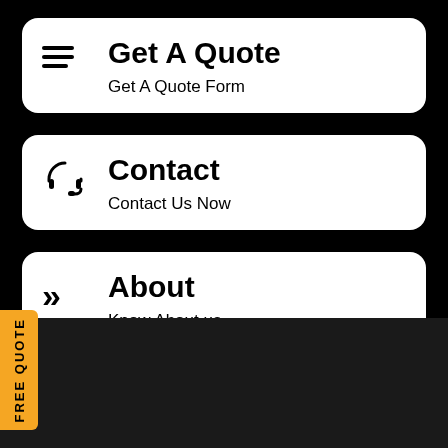Get A Quote — Get A Quote Form
Contact — Contact Us Now
About — Know About us
FREE QUOTE